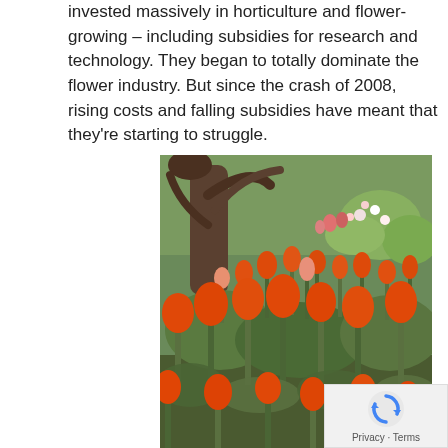invested massively in horticulture and flower-growing – including subsidies for research and technology. They began to totally dominate the flower industry. But since the crash of 2008, rising costs and falling subsidies have meant that they're starting to struggle.
[Figure (photo): A garden bed filled with bright orange and red tulips in full bloom, with green foliage. In the background, a large gnarled tree trunk is visible along with more flowers and shrubs in a lush garden setting.]